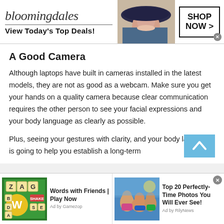[Figure (screenshot): Bloomingdale's advertisement banner: brand name in italic serif, 'View Today's Top Deals!' text, woman in hat image, 'SHOP NOW >' button in bordered box, close X button]
A Good Camera
Although laptops have built in cameras installed in the latest models, they are not as good as a webcam. Make sure you get your hands on a quality camera because clear communication requires the other person to see your facial expressions and your body language as clearly as possible.
Plus, seeing your gestures with clarity, and your body language is going to help you establish a long-term
[Figure (screenshot): Bottom ad bar with two ads: 'Words with Friends | Play Now' with game screenshot on left, and 'Top 20 Perfectly-Time Photos You Will Ever See!' with beach photo on right. Close button (x) in top right corner.]